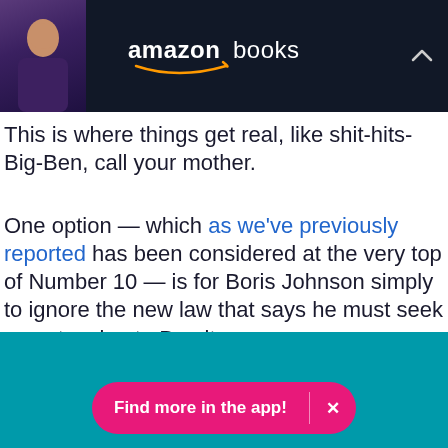[Figure (screenshot): Amazon Books advertisement banner with a woman looking at a screen on the left and 'amazon books' logo text in white on dark background, with a chevron/collapse button on the right]
This is where things get real, like shit-hits-Big-Ben, call your mother.
One option — which as we've previously reported has been considered at the very top of Number 10 — is for Boris Johnson simply to ignore the new law that says he must seek an extension to Brexit.
[Figure (screenshot): Teal/cyan colored section at the bottom with a pink rounded 'Find more in the app!' button with an X close button]